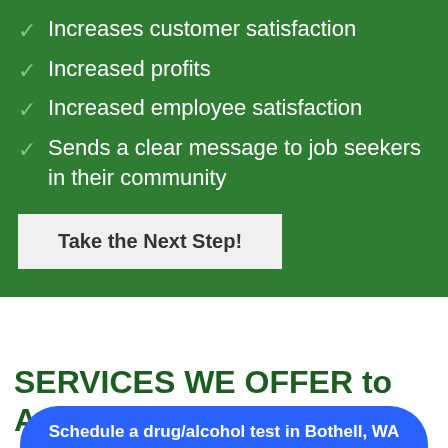Increases customer satisfaction
Increased profits
Increased employee satisfaction
Sends a clear message to job seekers in their community
Take the Next Step!
SERVICES WE OFFER to Ames, IA, and oth
Schedule a drug/alcohol test in Bothell, WA powered by Calendly